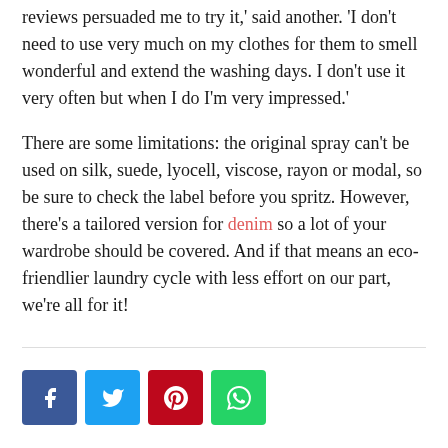reviews persuaded me to try it,' said another. 'I don't need to use very much on my clothes for them to smell wonderful and extend the washing days. I don't use it very often but when I do I'm very impressed.'
There are some limitations: the original spray can't be used on silk, suede, lyocell, viscose, rayon or modal, so be sure to check the label before you spritz. However, there's a tailored version for denim so a lot of your wardrobe should be covered. And if that means an eco-friendlier laundry cycle with less effort on our part, we're all for it!
[Figure (other): Social sharing buttons: Facebook (blue), Twitter (light blue), Pinterest (red), WhatsApp (green)]